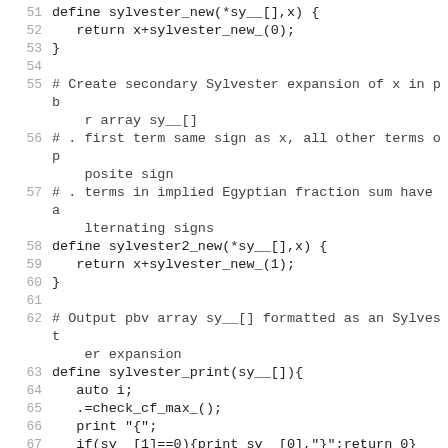51    define sylvester_new(*sy__[],x) {
52      return x+sylvester_new_(0);
53    }
54
55    # Create secondary Sylvester expansion of x in pbr array sy__[]
56    # . first term same sign as x, all other terms opposite sign
57    # . terms in implied Egyptian fraction sum have alternating signs
58    define sylvester2_new(*sy__[],x) {
59      return x+sylvester_new_(1);
60    }
61
62    # Output pbv array sy__[] formatted as an Sylvester expansion
63    define sylvester_print(sy__[]){
64      auto i;
65      .=check_cf_max_();
66      print "{";
67      if(sy__[1]==0){print sy__[0],"}";return 0}
68      for(i=1;sy__[i];i++)print sy__[i-1],", ";
69      print sy__[i-1];